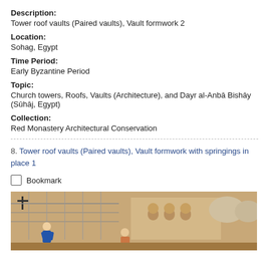Description:
Tower roof vaults (Paired vaults), Vault formwork 2
Location:
Sohag, Egypt
Time Period:
Early Byzantine Period
Topic:
Church towers, Roofs, Vaults (Architecture), and Dayr al-Anbā Bishāy (Sūhāj, Egypt)
Collection:
Red Monastery Architectural Conservation
8. Tower roof vaults (Paired vaults), Vault formwork with springings in place 1
Bookmark
[Figure (photo): Photograph of a construction scene at a historic church site with workers and scaffolding visible, arched windows on a building facade, and domed structures at right.]